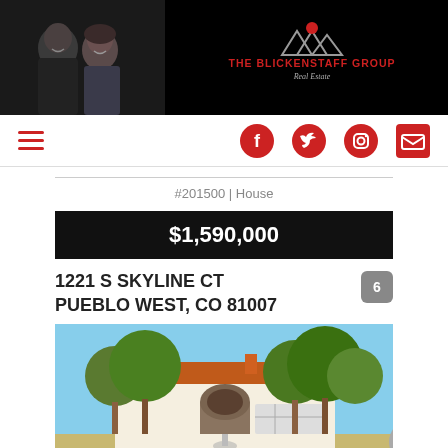[Figure (photo): The Blickenstaff Group Real Estate – header with photo of two agents (man and woman) on black background and logo]
[Figure (logo): The Blickenstaff Group Real Estate logo with mountain silhouette icon in red and gray, with tagline 'Real Estate']
[Figure (infographic): Navigation bar with hamburger menu icon on left and social media icons (Facebook, Twitter, Instagram, Email) on right, all in red]
#201500 | House
$1,590,000
1221 S SKYLINE CT
PUEBLO WEST, CO 81007
[Figure (photo): Exterior photo of a large Mediterranean-style house with arched entrance, tile roof, and large trees in front, sunny day]